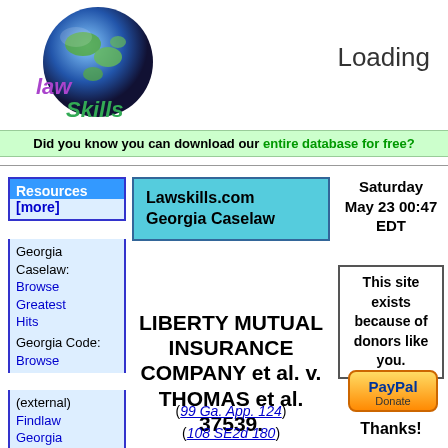[Figure (logo): Lawskills.com logo with globe image and stylized purple/green text 'lawskills']
Loading
Did you know you can download our entire database for free?
Resources [more]
Georgia Caselaw: Browse Greatest Hits
Georgia Code: Browse
(external) Findlaw Georgia Law
Lawskills.com Georgia Caselaw
Saturday May 23 00:47 EDT
LIBERTY MUTUAL INSURANCE COMPANY et al. v. THOMAS et al. 37539.
(99 Ga. App. 124) (108 SE2d 180) (1959)
This site exists because of donors like you.
[Figure (other): PayPal Donate button]
Thanks!